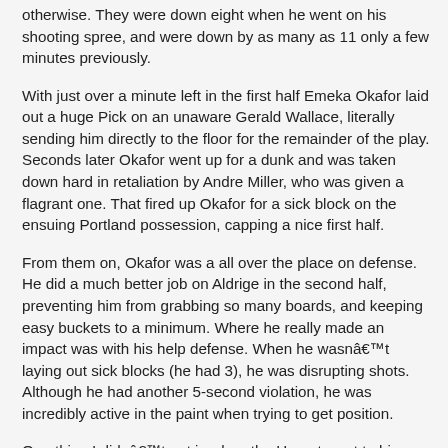otherwise. They were down eight when he went on his shooting spree, and were down by as many as 11 only a few minutes previously.
With just over a minute left in the first half Emeka Okafor laid out a huge Pick on an unaware Gerald Wallace, literally sending him directly to the floor for the remainder of the play. Seconds later Okafor went up for a dunk and was taken down hard in retaliation by Andre Miller, who was given a flagrant one. That fired up Okafor for a sick block on the ensuing Portland possession, capping a nice first half.
From them on, Okafor was a all over the place on defense. He did a much better job on Aldrige in the second half, preventing him from grabbing so many boards, and keeping easy buckets to a minimum. Where he really made an impact was with his help defense. When he wasnâ€™t laying out sick blocks (he had 3), he was disrupting shots. Although he had another 5-second violation, he was incredibly active in the paint when trying to get position.
One thing I didnâ€™t get is when the Hornet went to him three times in a row in the post during the closing minutes of the third quarter. I get that there arenâ€™t many options for creating, and that Okafor one on one